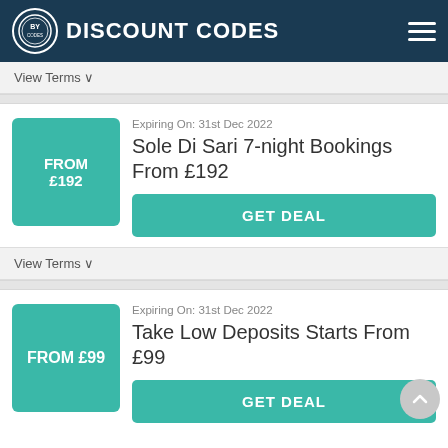DISCOUNT CODES
View Terms ∨
[Figure (other): Deal badge showing FROM £192 in teal square]
Expiring On: 31st Dec 2022
Sole Di Sari 7-night Bookings From £192
GET DEAL
View Terms ∨
[Figure (other): Deal badge showing FROM £99 in teal square]
Expiring On: 31st Dec 2022
Take Low Deposits Starts From £99
GET DEAL